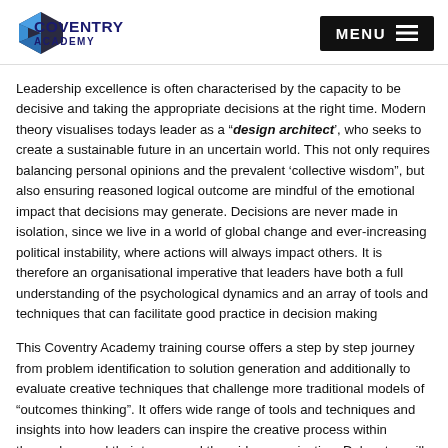COVENTRY ACADEMY | MENU
Leadership excellence is often characterised by the capacity to be decisive and taking the appropriate decisions at the right time. Modern theory visualises todays leader as a “design architect’, who seeks to create a sustainable future in an uncertain world. This not only requires balancing personal opinions and the prevalent ‘collective wisdom”, but also ensuring reasoned logical outcome are mindful of the emotional impact that decisions may generate. Decisions are never made in isolation, since we live in a world of global change and ever-increasing political instability, where actions will always impact others. It is therefore an organisational imperative that leaders have both a full understanding of the psychological dynamics and an array of tools and techniques that can facilitate good practice in decision making
This Coventry Academy training course offers a step by step journey from problem identification to solution generation and additionally to evaluate creative techniques that challenge more traditional models of “outcomes thinking”. It offers wide range of tools and techniques and insights into how leaders can inspire the creative process within themselves and their teams and the wider organisation. Delegates will leave energized and convinced of their creative potential. Decision making and problem